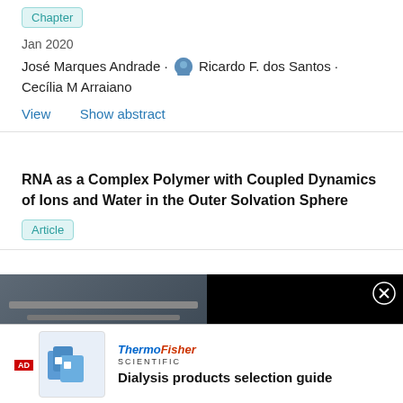Chapter
Jan 2020
José Marques Andrade · Ricardo F. dos Santos · Cecília M Arraiano
View   Show abstract
RNA as a Complex Polymer with Coupled Dynamics of Ions and Water in the Outer Solvation Sphere
Article
[Figure (screenshot): Video overlay showing lab equipment with play button, text reading 'Learn how to best influence lab equipment purchasing behavior' on black background]
[Figure (infographic): Thermo Fisher Scientific advertisement showing dialysis products with text 'Dialysis products selection guide']